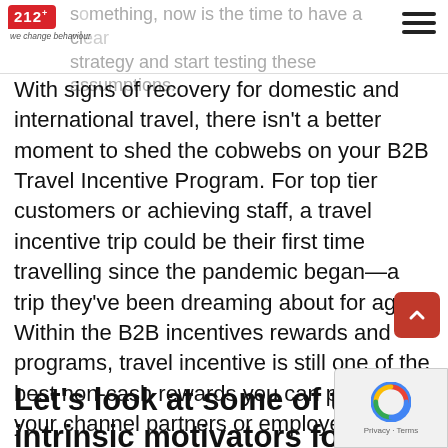something, now is the time to have a clear strategy and start testing these assumptions.
With signs of recovery for domestic and international travel, there isn't a better moment to shed the cobwebs on your B2B Travel Incentive Program. For top tier customers or achieving staff, a travel incentive trip could be their first time travelling since the pandemic began—a trip they've been dreaming about for ages. Within the B2B incentives rewards and programs, travel incentive is still one of the best non-cash rewards you can provide for your channel partners or employees.
Let's look at some of the intrinsic motivators for